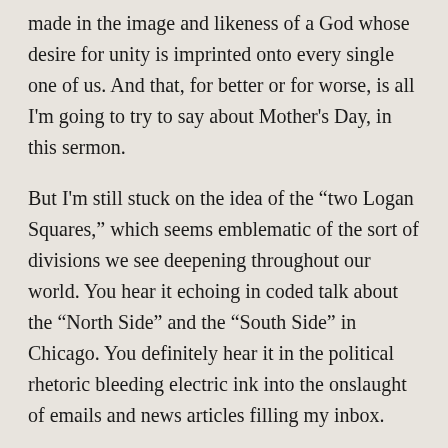made in the image and likeness of a God whose desire for unity is imprinted onto every single one of us. And that, for better or for worse, is all I'm going to try to say about Mother's Day, in this sermon.
But I'm still stuck on the idea of the “two Logan Squares,” which seems emblematic of the sort of divisions we see deepening throughout our world. You hear it echoing in coded talk about the “North Side” and the “South Side” in Chicago. You definitely hear it in the political rhetoric bleeding electric ink into the onslaught of emails and news articles filling my inbox.
[Figure (photo): A man's face (partial) and a building facade with columns visible in the background]
Even at a moment